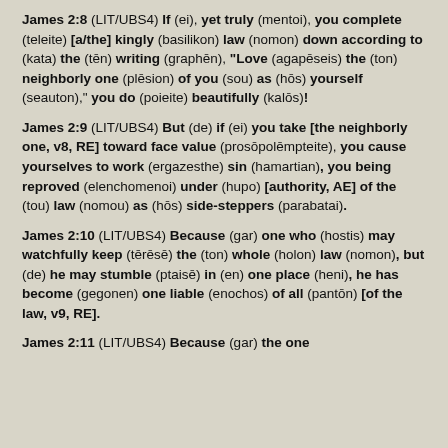James 2:8 (LIT/UBS4) If (ei), yet truly (mentoi), you complete (teleite) [a/the] kingly (basilikon) law (nomon) down according to (kata) the (tēn) writing (graphēn), "Love (agapēseis) the (ton) neighborly one (plēsion) of you (sou) as (hōs) yourself (seauton)," you do (poieite) beautifully (kalōs)!
James 2:9 (LIT/UBS4) But (de) if (ei) you take [the neighborly one, v8, RE] toward face value (prosōpolēmpteite), you cause yourselves to work (ergazesthe) sin (hamartian), you being reproved (elenchomenoi) under (hupo) [authority, AE] of the (tou) law (nomou) as (hōs) side-steppers (parabatai).
James 2:10 (LIT/UBS4) Because (gar) one who (hostis) may watchfully keep (tērēsē) the (ton) whole (holon) law (nomon), but (de) he may stumble (ptaisē) in (en) one place (heni), he has become (gegonen) one liable (enochos) of all (pantōn) [of the law, v9, RE].
James 2:11 (LIT/UBS4) Because (gar) the one